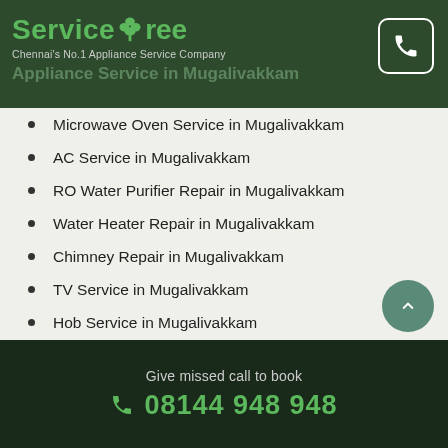ServiceTree – Chennai's No.1 Appliance Service Company
Appliance Service in Mugalivakkam
Microwave Oven Service in Mugalivakkam
AC Service in Mugalivakkam
RO Water Purifier Repair in Mugalivakkam
Water Heater Repair in Mugalivakkam
Chimney Repair in Mugalivakkam
TV Service in Mugalivakkam
Hob Service in Mugalivakkam
Give missed call to book
08144 948 948